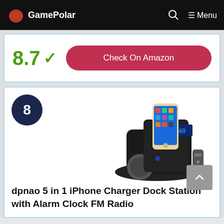GamePolar — Menu
8.7 ✓
Check On Amazon
[Figure (screenshot): Product listing card showing rank badge '8' and a photo of a dpnao iPhone charger dock station with alarm clock FM radio, a smartphone docked in it, and a remote control beside it. A scroll-to-top button is visible in the bottom right corner.]
dpnao 5 in 1 iPhone Charger Dock Station with Alarm Clock FM Radio